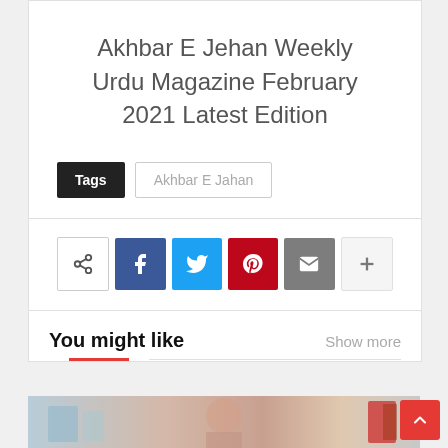Akhbar E Jehan Weekly Urdu Magazine February 2021 Latest Edition
Tags  Akhbar E Jahan
[Figure (infographic): Social share buttons: share icon, Facebook, Twitter, Pinterest, Email, and more (+) buttons]
You might like
Show more
[Figure (photo): Partial preview image of a magazine or article thumbnail showing a woman with products]